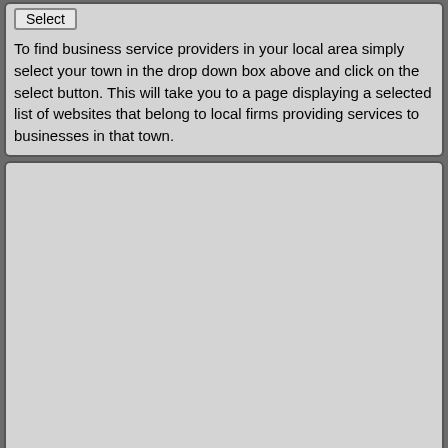Select
To find business service providers in your local area simply select your town in the drop down box above and click on the select button. This will take you to a page displaying a selected list of websites that belong to local firms providing services to businesses in that town.
[Figure (other): Large grey empty advertisement/content box]
There are 9 visitors on this site at the moment.
The last few towns looked at include :
Ashbourne
Bakewell
Ballymena
Bermondsey
Bidford on Avon
Bowness on Windermere
Bramhall